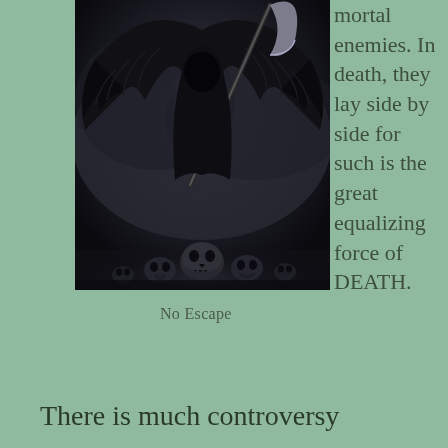[Figure (illustration): Dark fantasy illustration of a grim reaper figure with large dark wings holding a scythe, with skulls on the ground below, surrounded by dark misty atmosphere.]
No Escape
mortal enemies. In death, they lay side by side for such is the great equalizing force of DEATH.
There is much controversy